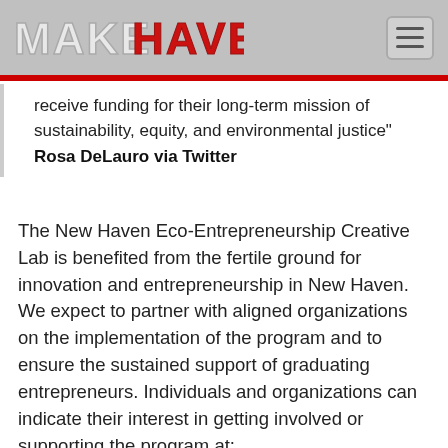MAKEHAVEN
receive funding for their long-term mission of sustainability, equity, and environmental justice"
Rosa DeLauro via Twitter
The New Haven Eco-Entrepreneurship Creative Lab is benefited from the fertile ground for innovation and entrepreneurship in New Haven. We expect to partner with aligned organizations on the implementation of the program and to ensure the sustained support of graduating entrepreneurs. Individuals and organizations can indicate their interest in getting involved or supporting the program at: makehaven.org/ecolab/interest